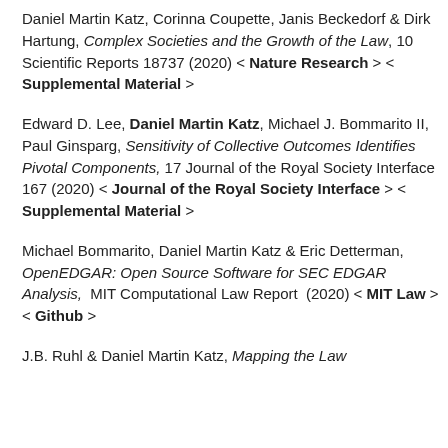Daniel Martin Katz, Corinna Coupette, Janis Beckedorf & Dirk Hartung, Complex Societies and the Growth of the Law, 10 Scientific Reports 18737 (2020) < Nature Research > < Supplemental Material >
Edward D. Lee, Daniel Martin Katz, Michael J. Bommarito II, Paul Ginsparg, Sensitivity of Collective Outcomes Identifies Pivotal Components, 17 Journal of the Royal Society Interface 167 (2020) < Journal of the Royal Society Interface > < Supplemental Material >
Michael Bommarito, Daniel Martin Katz & Eric Detterman, OpenEDGAR: Open Source Software for SEC EDGAR Analysis, MIT Computational Law Report (2020) < MIT Law > < Github >
J.B. Ruhl & Daniel Martin Katz, Mapping the Law